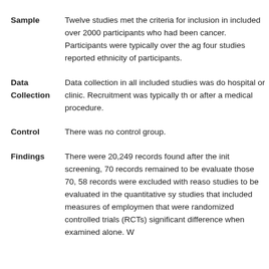Sample
Twelve studies met the criteria for inclusion in included over 2000 participants who had been cancer. Participants were typically over the age four studies reported ethnicity of participants.
Data Collection
Data collection in all included studies was done at a hospital or clinic. Recruitment was typically through or after a medical procedure.
Control
There was no control group.
Findings
There were 20,249 records found after the initial screening, 70 records remained to be evaluated. Of those 70, 58 records were excluded with reasons, leaving studies to be evaluated in the quantitative synthesis. studies that included measures of employment that were randomized controlled trials (RCTs) significant difference when examined alone. W